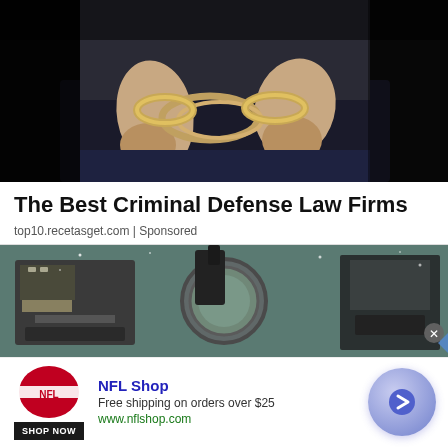[Figure (photo): Person with hands handcuffed behind their back, wearing a dark shirt, dark background. Close-up of wrists with silver handcuffs.]
The Best Criminal Defense Law Firms
top10.recetasget.com | Sponsored
[Figure (photo): Interior view of what appears to be a space-related or sci-fi scene with equipment and a round porthole or device visible.]
[Figure (infographic): NFL Shop advertisement banner. Shows NFL Shop logo in red, text reading: NFL Shop, Free shipping on orders over $25, www.nflshop.com, SHOP NOW button. Right side shows a circular button with arrow.]